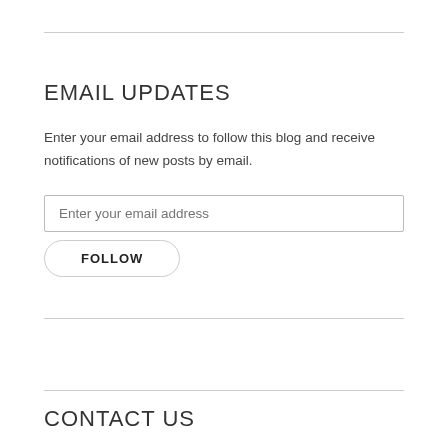EMAIL UPDATES
Enter your email address to follow this blog and receive notifications of new posts by email.
Enter your email address
FOLLOW
CONTACT US